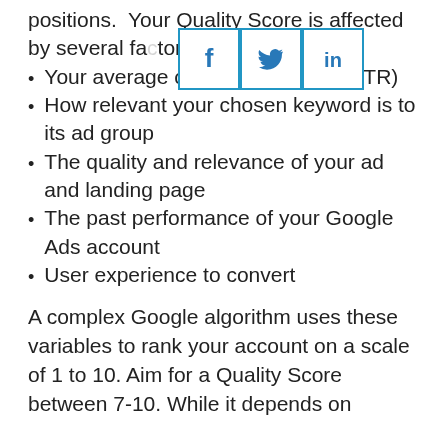positions.  Your Quality Score is affected by several factors, including:
Your average click-through rate (CTR)
How relevant your chosen keyword is to its ad group
The quality and relevance of your ad and landing page
The past performance of your Google Ads account
User experience to convert
A complex Google algorithm uses these variables to rank your account on a scale of 1 to 10. Aim for a Quality Score between 7-10. While it depends on